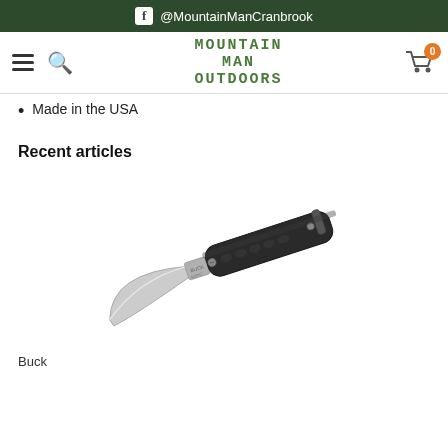f @MountainManCranbrook
[Figure (logo): Mountain Man Outdoors logo with hamburger menu, search icon, and shopping cart with badge showing 0]
Made in the USA
Recent articles
[Figure (photo): A Buck folding pocket knife with black textured handle and silver blade, shown open at an angle]
Buck